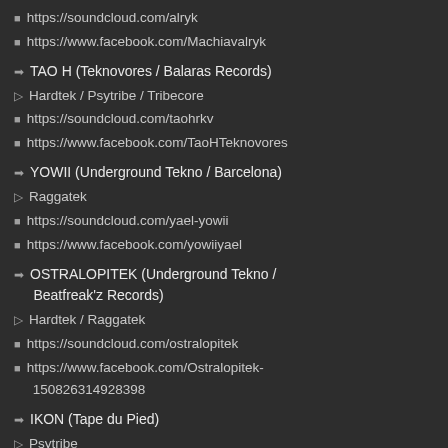https://soundcloud.com/alryk
https://www.facebook.com/Machiavalryk
TAO H (Teknovores / Balaras Records)
Hardtek / Psytribe / Tribecore
https://soundcloud.com/taohrkv
https://www.facebook.com/TaoHTeknovores
YOWII (Underground Tekno / Barcelona)
Raggatek
https://soundcloud.com/yael-yowii
https://www.facebook.com/yowiiyael
OSTRALOPITEK (Underground Tekno / Beatfreak'z Records)
Hardtek / Raggatek
https://soundcloud.com/ostralopitek
https://www.facebook.com/Ostralopitek-150826314928398
IKON (Tape du Pied)
Psytribe
https://soundcloud.com/ikonfr
https://www.facebook.com/IKONfrmusic